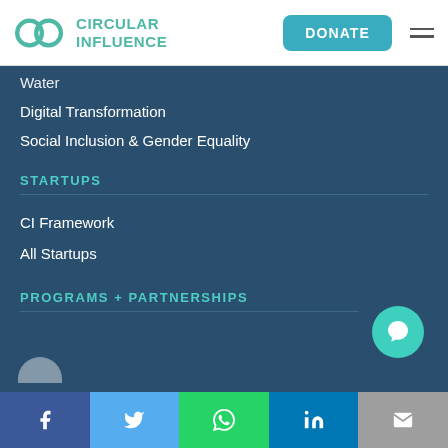CIRCULAR INFLUENCE | DONATE
Water
Digital Transformation
Social Inclusion & Gender Equality
STARTUPS
CI Framework
All Startups
PROGRAMS + PARTNERSHIPS